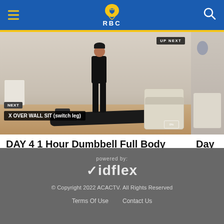RBC navigation header with hamburger menu and search icon
[Figure (screenshot): Video thumbnail showing a workout scene: a person standing on a yoga mat in a home gym setting, with 'UP NEXT' badge in top right, 'NEXT' badge and 'X OVER WALL SIT (switch leg)' overlay text at bottom left, and a progress indicator at bottom right.]
DAY 4 1 Hour Dumbbell Full Body Workout Core Focus
Dec. 6, 2020
Day
Dec. 6,
powered by: vidflex © Copyright 2022 ACACTV. All Rights Reserved Terms Of Use Contact Us